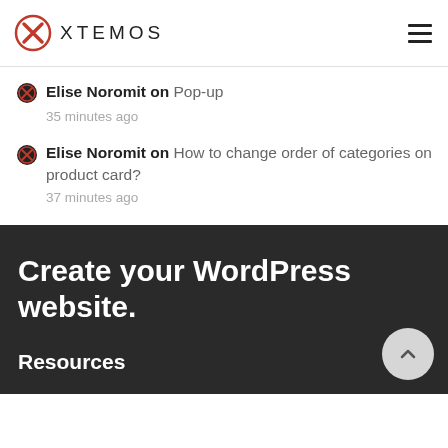XTEMOS
Elise Noromit on Pop-up
35 minutes ago
Elise Noromit on How to change order of categories on product card?
37 minutes ago
Create your WordPress website.
Resources